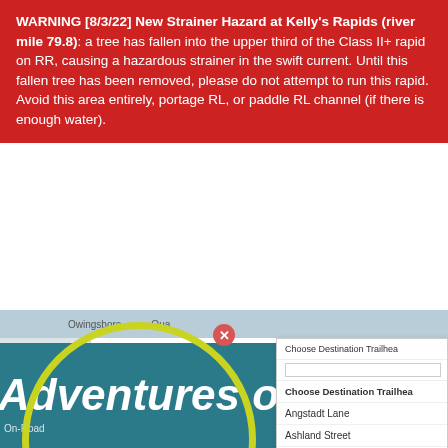WARNING [8/3/22] New Strainer Hazard at Kelly's Rapids (river mile 79.8): a tree has fallen into the upper third of the Class II+ rapid on RR, causing a hazardous strainer in the swift current. Until this fallen tree has been removed, please do not attempt to run this rapid. Avoid this area entirely, portage RL, or paddle RL channel (if there is enough water).
[Figure (screenshot): Screenshot of a trail/river map planning website showing 'Plan Your Trip' and 'Using The Map' sections, with a dropdown showing destination trailhead options including Angstadt Lane, Ashland Street, Auburn, and Betswood (selected/highlighted in blue). A yellow circle highlights the Plan Your Trip area. A close button (X) is visible at the top. A 'To Top' button appears in the lower right.]
Adventures on the trai